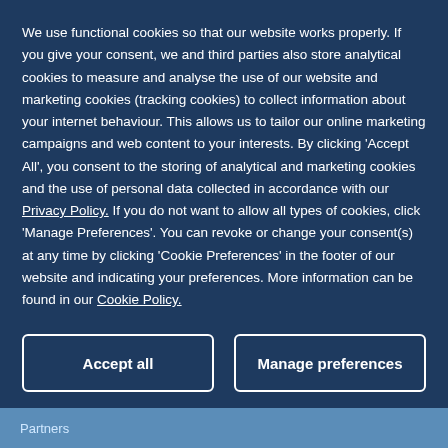We use functional cookies so that our website works properly. If you give your consent, we and third parties also store analytical cookies to measure and analyse the use of our website and marketing cookies (tracking cookies) to collect information about your internet behaviour. This allows us to tailor our online marketing campaigns and web content to your interests. By clicking 'Accept All', you consent to the storing of analytical and marketing cookies and the use of personal data collected in accordance with our Privacy Policy. If you do not want to allow all types of cookies, click 'Manage Preferences'. You can revoke or change your consent(s) at any time by clicking 'Cookie Preferences' in the footer of our website and indicating your preferences. More information can be found in our Cookie Policy.
Accept all
Manage preferences
Partners